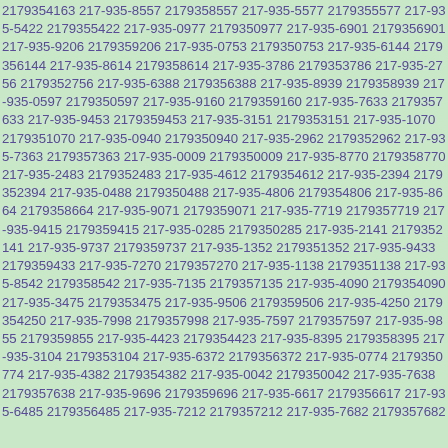2179354163 217-935-8557 2179358557 217-935-5577 2179355577 217-935-5422 2179355422 217-935-0977 2179350977 217-935-6901 2179356901 217-935-9206 2179359206 217-935-0753 2179350753 217-935-6144 2179356144 217-935-8614 2179358614 217-935-3786 2179353786 217-935-2756 2179352756 217-935-6388 2179356388 217-935-8939 2179358939 217-935-0597 2179350597 217-935-9160 2179359160 217-935-7633 2179357633 217-935-9453 2179359453 217-935-3151 2179353151 217-935-1070 2179351070 217-935-0940 2179350940 217-935-2962 2179352962 217-935-7363 2179357363 217-935-0009 2179350009 217-935-8770 2179358770 217-935-2483 2179352483 217-935-4612 2179354612 217-935-2394 2179352394 217-935-0488 2179350488 217-935-4806 2179354806 217-935-8664 2179358664 217-935-9071 2179359071 217-935-7719 2179357719 217-935-9415 2179359415 217-935-0285 2179350285 217-935-2141 2179352141 217-935-9737 2179359737 217-935-1352 2179351352 217-935-9433 2179359433 217-935-7270 2179357270 217-935-1138 2179351138 217-935-8542 2179358542 217-935-7135 2179357135 217-935-4090 2179354090 217-935-3475 2179353475 217-935-9506 2179359506 217-935-4250 2179354250 217-935-7998 2179357998 217-935-7597 2179357597 217-935-9855 2179359855 217-935-4423 2179354423 217-935-8395 2179358395 217-935-3104 2179353104 217-935-6372 2179356372 217-935-0774 2179350774 217-935-4382 2179354382 217-935-0042 2179350042 217-935-7638 2179357638 217-935-9696 2179359696 217-935-6617 2179356617 217-935-6485 2179356485 217-935-7212 2179357212 217-935-7682 2179357682